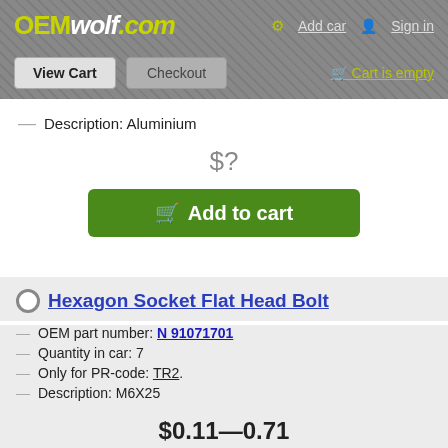OEMwolf.com — Add car | Sign in | View Cart | Checkout | Cart is empty
— Description: Aluminium
$?
Add to cart
Hexagon Socket Flat Head Bolt
— OEM part number: N 91071701
— Quantity in car: 7
— Only for PR-code: TR2.
— Description: M6X25
$0.11—0.71